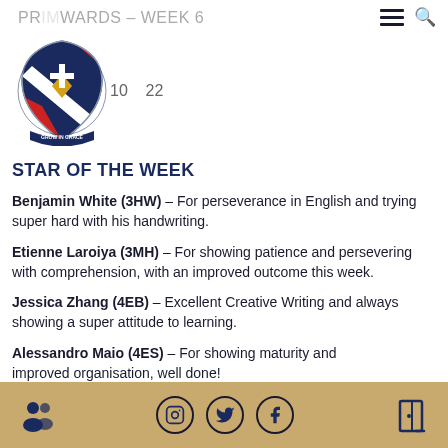PRIMWARDS – WEEK 6
[Figure (logo): Blue Coat School Birmingham crest/shield logo with motto 'Grow in Grace']
10 22
STAR OF THE WEEK
Benjamin White (3HW) – For perseverance in English and trying super hard with his handwriting.
Etienne Laroiya (3MH) – For showing patience and persevering with comprehension, with an improved outcome this week.
Jessica Zhang (4EB) – Excellent Creative Writing and always showing a super attitude to learning.
Alessandro Maio (4ES) – For showing maturity and improved organisation, well done!
Social media icons: Instagram, Twitter, Facebook. People icon. Door icon.